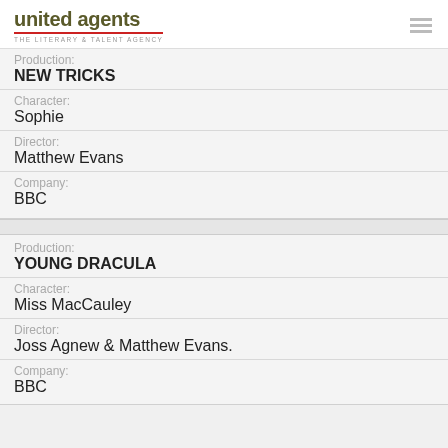united agents | THE LITERARY & TALENT AGENCY
Production: NEW TRICKS
Character: Sophie
Director: Matthew Evans
Company: BBC
Production: YOUNG DRACULA
Character: Miss MacCauley
Director: Joss Agnew & Matthew Evans.
Company: BBC